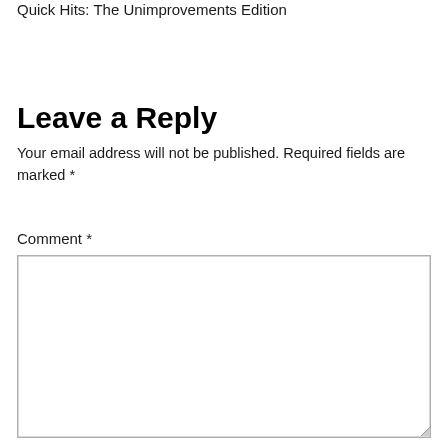Quick Hits: The Unimprovements Edition
Leave a Reply
Your email address will not be published. Required fields are marked *
Comment *
[Figure (other): Empty comment text area input box with resize handle in bottom-right corner]